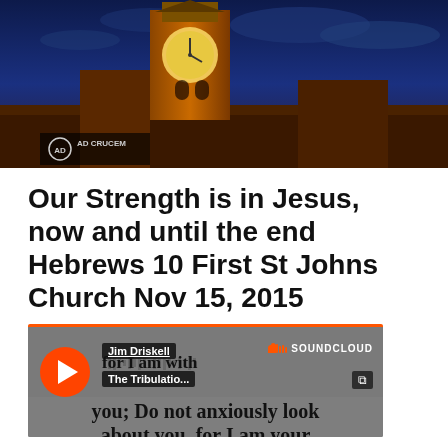[Figure (photo): Nighttime photo of a church tower illuminated against a dark blue sky, with a clock face visible. Logo and text 'AD CRUCEM' visible in bottom-left corner.]
Our Strength is in Jesus, now and until the end Hebrews 10 First St Johns Church Nov 15, 2015
[Figure (screenshot): SoundCloud audio player embed showing a play button, Jim Driskell label, 'The Tribulatio...' track title, SoundCloud branding, and scripture text: 'for I am with you; Do not anxiously look about you, for I am your God; I will strengthen you...']